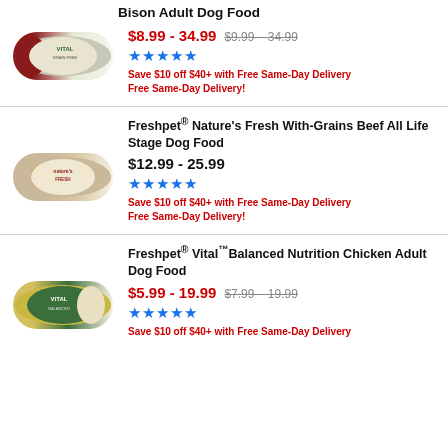Bison Adult Dog Food
[Figure (photo): Freshpet Vital Grain Free Bison Adult Dog Food roll product image]
$8.99 - 34.99  $9.99 – 34.99
★★★★★
Save $10 off $40+ with Free Same-Day Delivery
Free Same-Day Delivery!
Freshpet® Nature's Fresh With-Grains Beef All Life Stage Dog Food
[Figure (photo): Freshpet Nature's Fresh With-Grains Beef All Life Stage Dog Food roll product image]
$12.99 - 25.99
★★★★★
Save $10 off $40+ with Free Same-Day Delivery
Free Same-Day Delivery!
Freshpet® Vital™ Balanced Nutrition Chicken Adult Dog Food
[Figure (photo): Freshpet Vital Balanced Nutrition Chicken Adult Dog Food roll product image]
$5.99 - 19.99  $7.99 – 19.99
★★★★★
Save $10 off $40+ with Free Same-Day Delivery